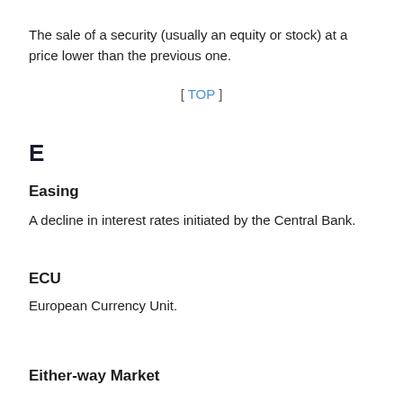The sale of a security (usually an equity or stock) at a price lower than the previous one.
[ TOP ]
E
Easing
A decline in interest rates initiated by the Central Bank.
ECU
European Currency Unit.
Either-way Market